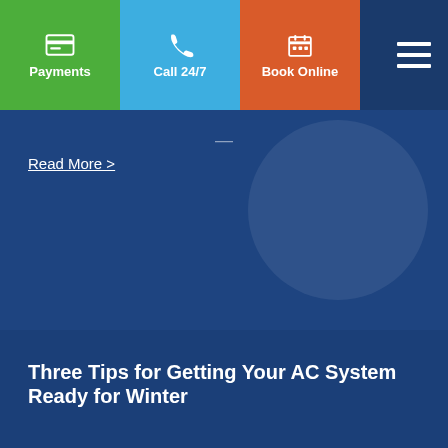[Figure (screenshot): Navigation bar with three colored buttons (Payments in green, Call 24/7 in blue, Book Online in orange/red) and a hamburger menu icon on the right]
Read More >
Three Tips for Getting Your AC System Ready for Winter
If you're like most homeowners, you like it when your appliances work properly - and one of your most important appliances in your home is...
Read More >